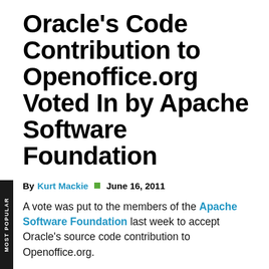Oracle's Code Contribution to Openoffice.org Voted In by Apache Software Foundation
By Kurt Mackie  June 16, 2011
A vote was put to the members of the Apache Software Foundation last week to accept Oracle's source code contribution to Openoffice.org.
The decision seemed foregone, but the votes still needed to be counted. The OpenOffice.org open source software will now be developed under the permissive Apache 2.0 license, according to a proposal published by the Apache Software Foundation. The votes were heavily in